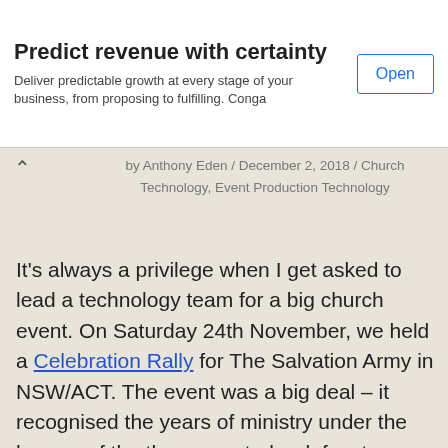[Figure (other): Advertisement banner: 'Predict revenue with certainty' with subtitle 'Deliver predictable growth at every stage of your business, from proposing to fulfilling. Conga' and an 'Open' button]
by Anthony Eden / December 2, 2018 / Church Technology, Event Production Technology
It’s always a privilege when I get asked to lead a technology team for a big church event. On Saturday 24th November, we held a Celebration Rally for The Salvation Army in NSW/ACT. The event was a big deal – it recognised the years of ministry under the banner of the then soon-to-be defunct Australian Eastern Territory (now officially merged into an Australia-wide territory),